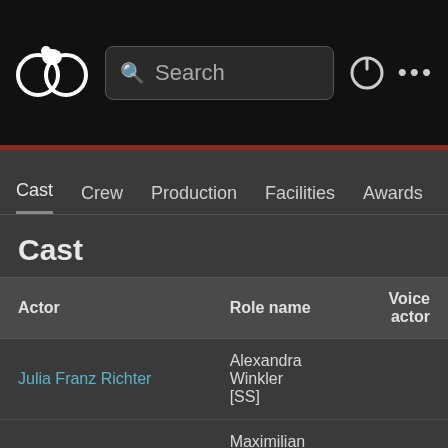[Figure (screenshot): App top bar with logo, search box, power icon and menu dots]
Cast  Crew  Production  Facilities  Awards  Releases
Cast
| Actor | Role name | Voice actor |
| --- | --- | --- |
| Julia Franz Richter | Alexandra Winkler [SS] |  |
| Christoph Luser | Maximilian Hochstetten [SS] |  |
| ○ Patricia Aulitzky | Silvia Hochstetten [SS] |  |
| ○ Laurence Rupp | Leander Hochstetten [SS] |  |
| ● Michael Menzel | Karl Hochstetten [SS] |  |
| ● Mariam Hage | Paula Novak [SS] |  |
| ● Aaron Karl | Raphael Horvath [SS] |  |